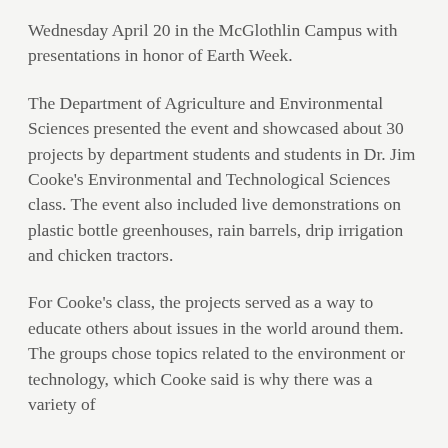Wednesday April 20 in the McGlothlin Campus with presentations in honor of Earth Week.
The Department of Agriculture and Environmental Sciences presented the event and showcased about 30 projects by department students and students in Dr. Jim Cooke's Environmental and Technological Sciences class. The event also included live demonstrations on plastic bottle greenhouses, rain barrels, drip irrigation and chicken tractors.
For Cooke's class, the projects served as a way to educate others about issues in the world around them. The groups chose topics related to the environment or technology, which Cooke said is why there was a variety of